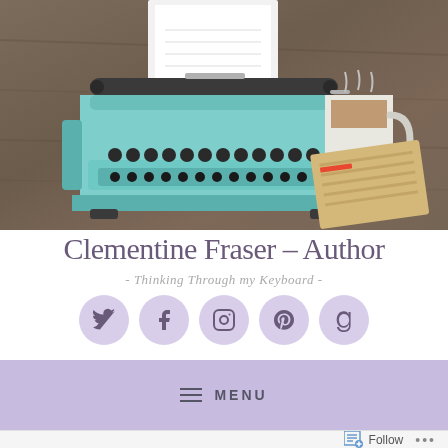[Figure (photo): Hero banner photo showing a teal vintage typewriter with white paper loaded, a white coffee mug with light brown coffee, and a tan notepad on a dark wood table surface]
Clementine Fraser – Author
- Thinking Through my Keyboard -
[Figure (infographic): Five lavender circular social media icons in a row: Twitter, Facebook, Instagram, Pinterest, Goodreads]
≡ MENU
Follow ...